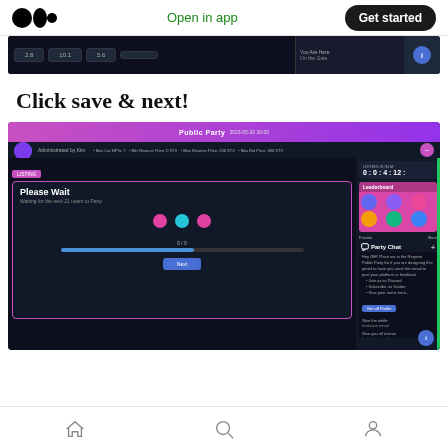Open in app | Get started
[Figure (screenshot): Top cropped screenshot of a dark-themed web app showing a data table or listing interface with purple/pink accents]
Click save & next!
[Figure (screenshot): Screenshot of a dark-themed 'Public Party' web application showing a 'Please Wait' dialog with loading dots and progress bar, Party Chat panel on the right with user avatars and chat messages, and a green sidebar accent]
Home | Search | Profile navigation icons